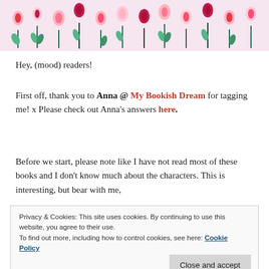[Figure (illustration): Decorative banner with illustrated pink and red flowers/tulips on green stems against a light pink background]
Hey, (mood) readers!
First off, thank you to Anna @ My Bookish Dream for tagging me! x Please check out Anna's answers here.
Before we start, please note like I have not read most of these books and I don't know much about the characters. This is interesting, but bear with me,
Privacy & Cookies: This site uses cookies. By continuing to use this website, you agree to their use.
To find out more, including how to control cookies, see here: Cookie Policy
Close and accept